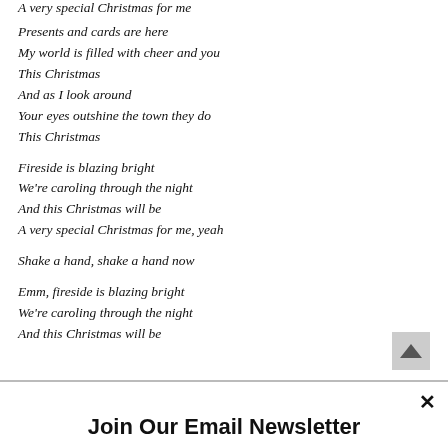A very special Christmas for me
Presents and cards are here
My world is filled with cheer and you
This Christmas
And as I look around
Your eyes outshine the town they do
This Christmas
Fireside is blazing bright
We're caroling through the night
And this Christmas will be
A very special Christmas for me, yeah
Shake a hand, shake a hand now
Emm, fireside is blazing bright
We're caroling through the night
And this Christmas will be
Join Our Email Newsletter